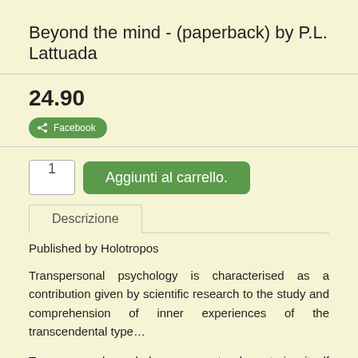Beyond the mind - (paperback) by P.L. Lattuada
24.90
Facebook
1
Aggiunti al carrello.
Descrizione
Published by Holotropos
Transpersonal psychology is characterised as a contribution given by scientific research to the study and comprehension of inner experiences of the transcendental type...
Transpersonal psychology seems to characterise itself as a wide thought and research movement, working towards an integration of psychological principles and methods with